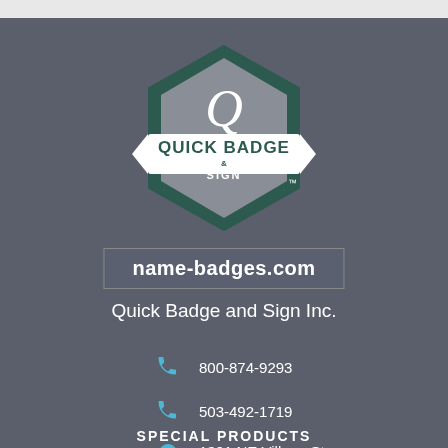[Figure (logo): Quick Badge & Sign hexagon logo with Q monogram]
name-badges.com
Quick Badge and Sign Inc.
800-874-9293
503-492-1719
1391 NE Village St.
Fairview, OR 97024
SPECIAL PRODUCTS